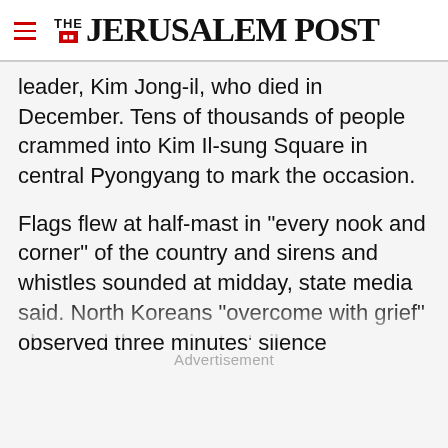THE JERUSALEM POST
leader, Kim Jong-il, who died in December. Tens of thousands of people crammed into Kim Il-sung Square in central Pyongyang to mark the occasion.
Flags flew at half-mast in "every nook and corner" of the country and sirens and whistles sounded at midday, state media said. North Koreans "overcome with grief" observed three minutes' silence
Advertisement